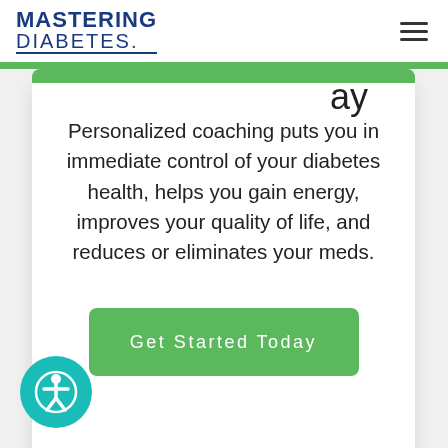MASTERING DIABETES.
Personalized coaching puts you in immediate control of your diabetes health, helps you gain energy, improves your quality of life, and reduces or eliminates your meds.
[Figure (other): Green 'Get Started Today' button]
[Figure (other): Accessibility icon - person in circle on teal background, bottom left]